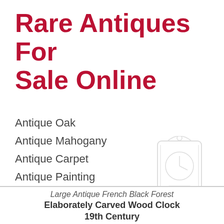Rare Antiques For Sale Online
Antique Oak
Antique Mahogany
Antique Carpet
Antique Painting
Antique Glass
Antique Plate
[Figure (illustration): Faint watermark-style illustration of an antique carved wooden clock]
Large Antique French Black Forest Elaborately Carved Wood Clock 19th Century